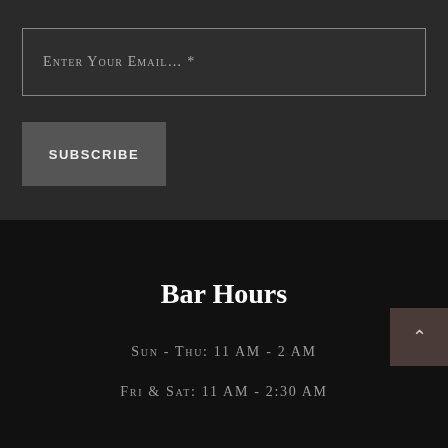Enter Your Email… *
SUBSCRIBE
Bar Hours
Sun - Thu: 11 AM - 2 AM
Fri & Sat: 11 AM - 2:30 AM